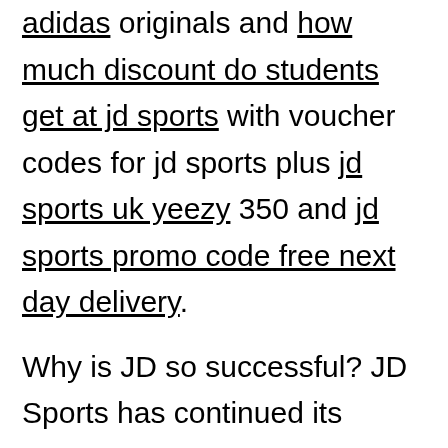adidas originals and how much discount do students get at jd sports with voucher codes for jd sports plus jd sports uk yeezy 350 and jd sports promo code free next day delivery.
Why is JD so successful? JD Sports has continued its stellar rise because JD's success was partly due to the popularity of 'athleisure', as well as offering